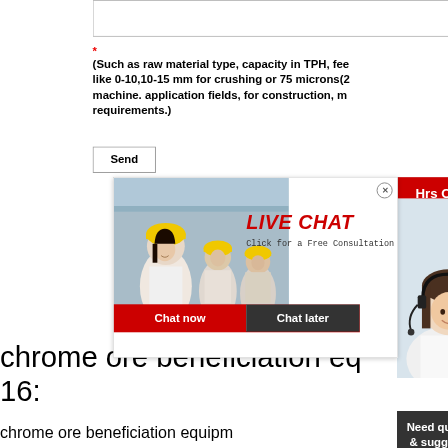(Such as raw material type, capacity in TPH, feed size like 0-10,10-15 mm for crushing or 75 microns(2 machine. application fields, for construction, m requirements.)
*
Send
[Figure (screenshot): Live chat popup with workers in hard hats, LIVE CHAT heading in red italic, 'Click for a Free Consultation' text, Chat now (red) and Chat later (dark) buttons, and close button]
Hrs Online
chrome ore beneficiation eq 16:
chrome ore beneficiation equipm Alibaba features a broad selection of opti chrome ore beneficiation equipment that
[Figure (screenshot): Need questions & suggestion? chat widget with Chat Now red button, woman with headset]
Need questions & suggestion?
Chat Now